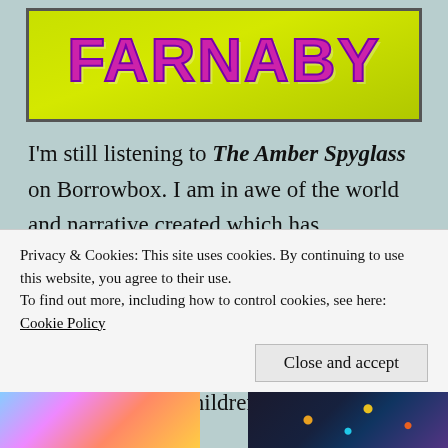[Figure (illustration): Book cover banner with yellow-green background showing the text FARNABY in large pink/purple bold letters with dark outline]
I'm still listening to The Amber Spyglass on Borrowbox. I am in awe of the world and narrative created which has completely drawn me in – perfect in-car entertainment! I've just started Amari and the Night Brothers which I had intended to read by now, but a few others got in the way! One of the children in my class has given me her copy
Privacy & Cookies: This site uses cookies. By continuing to use this website, you agree to their use.
To find out more, including how to control cookies, see here: Cookie Policy
Close and accept
[Figure (photo): Colorful thumbnail image with pink, blue and orange tones]
[Figure (photo): Dark thumbnail image with decorative floral/botanical pattern in gold and teal on dark background]